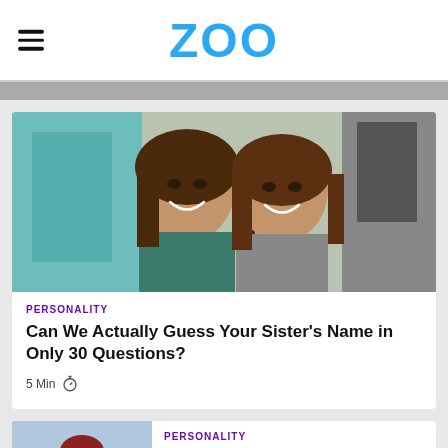ZOO
[Figure (photo): Two young women smiling and laughing together outdoors near a store window]
PERSONALITY
Can We Actually Guess Your Sister's Name in Only 30 Questions?
5 Min
PERSONALITY
How Manly Are You?
[Figure (photo): Person wearing a dark red/maroon beanie hat, viewed from behind]